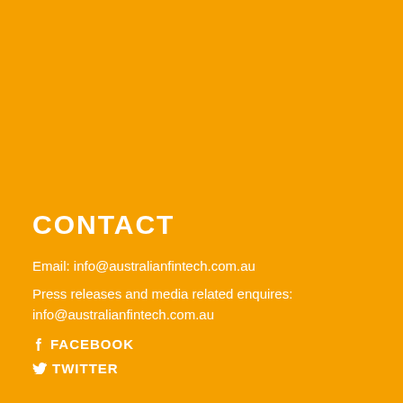CONTACT
Email: info@australianfintech.com.au
Press releases and media related enquires:
info@australianfintech.com.au
FACEBOOK
TWITTER